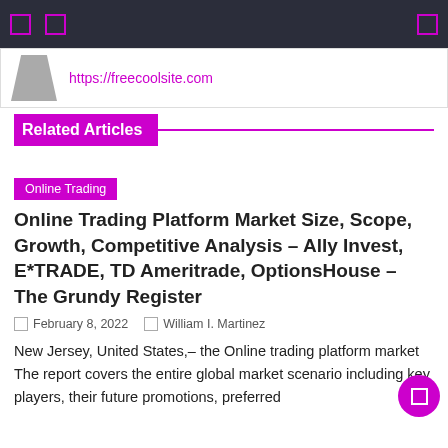Navigation bar with icons
https://freecoolsite.com
Related Articles
Online Trading
Online Trading Platform Market Size, Scope, Growth, Competitive Analysis – Ally Invest, E*TRADE, TD Ameritrade, OptionsHouse – The Grundy Register
February 8, 2022   William I. Martinez
New Jersey, United States,– the Online trading platform market The report covers the entire global market scenario including key players, their future promotions, preferred